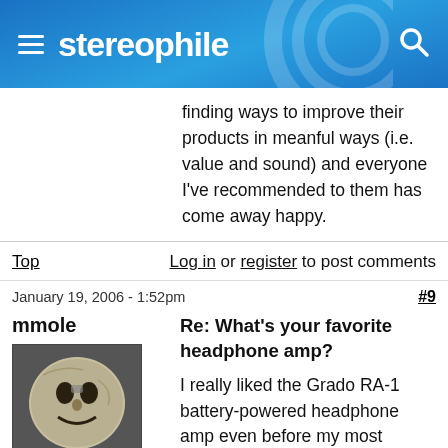stereophile
finding ways to improve their products in meanful ways (i.e. value and sound) and everyone I've recommended to them has come away happy.
Top   Log in or register to post comments
January 19, 2006 - 1:52pm   #9
mmole
[Figure (photo): User avatar showing a vintage moon face illustration (from 'A Trip to the Moon' film)]
Re: What's your favorite headphone amp?
I really liked the Grado RA-1 battery-powered headphone amp even before my most